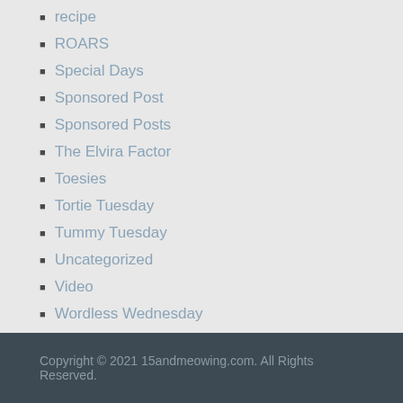recipe
ROARS
Special Days
Sponsored Post
Sponsored Posts
The Elvira Factor
Toesies
Tortie Tuesday
Tummy Tuesday
Uncategorized
Video
Wordless Wednesday
Copyright © 2021 15andmeowing.com. All Rights Reserved.